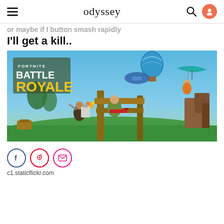odyssey
or maybe if I button smash rapidly I'll get a kill..
[Figure (photo): Fortnite Battle Royale promotional image showing game characters with weapons in a colorful outdoor environment with hot air balloon and hang glider in the background.]
c1.staticflickr.com